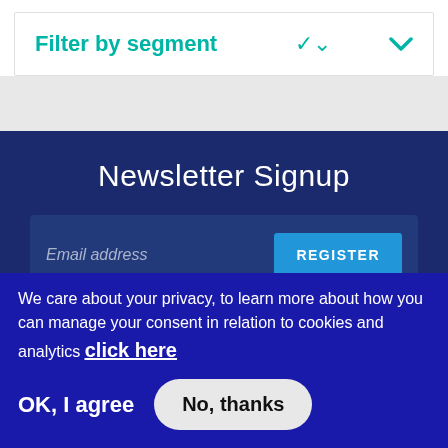Filter by segment
Newsletter Signup
Email address
REGISTER
[Figure (other): Social media icons row: RSS, Twitter, Facebook, LinkedIn, Instagram, YouTube, EU]
We care about your privacy, to learn more about how you can manage your consent in relation to cookies and analytics click here
OK, I agree
No, thanks